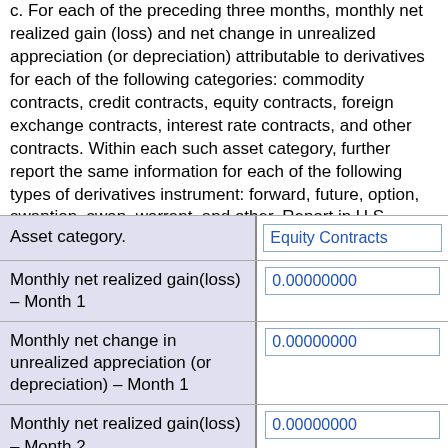c. For each of the preceding three months, monthly net realized gain (loss) and net change in unrealized appreciation (or depreciation) attributable to derivatives for each of the following categories: commodity contracts, credit contracts, equity contracts, foreign exchange contracts, interest rate contracts, and other contracts. Within each such asset category, further report the same information for each of the following types of derivatives instrument: forward, future, option, swaption, swap, warrant, and other. Report in U.S. dollars. Losses and depreciation shall be reported as negative numbers.
| Field | Value |
| --- | --- |
| Asset category. | Equity Contracts |
| Monthly net realized gain(loss) – Month 1 | 0.00000000 |
| Monthly net change in unrealized appreciation (or depreciation) – Month 1 | 0.00000000 |
| Monthly net realized gain(loss) – Month 2 | 0.00000000 |
| Monthly net change in unrealized appreciation (or depreciation) – Month 2 | 0.00000000 |
| Monthly net realized gain(loss) – Month 3 | 0.00000000 |